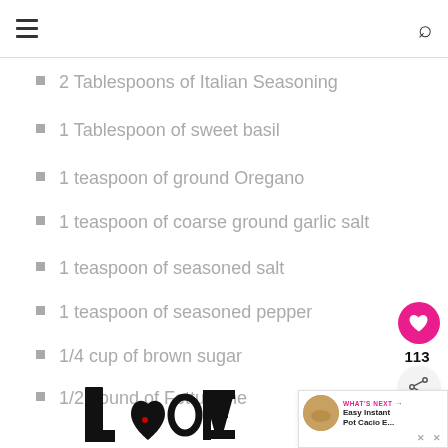navigation bar with hamburger menu and search icon
2 Tablespoons of Italian Seasoning
1 Tablespoon of sweet basil
1 teaspoon of ground Oregano
1 teaspoon of coarse ground garlic salt
1 teaspoon of seasoned salt
1 teaspoon of seasoned pepper
1/4 cup of brown sugar
1/2 pound of Fettuccine
Parmesan Cheese - to top
Finely chopped Parsley - to top
[Figure (logo): LOVE text logo in decorative black and white illustrated style with small red heart accent]
[Figure (illustration): WHAT'S NEXT callout with thumbnail image of pasta dish and text 'Easy Instant Pot Cacio E...']